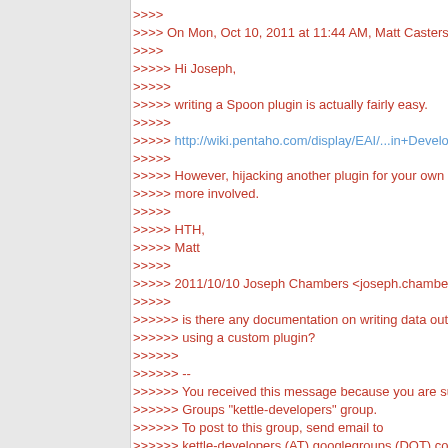>>>>
>>>> On Mon, Oct 10, 2011 at 11:44 AM, Matt Casters <mcasters
>>>>
>>>>> Hi Joseph,
>>>>>
>>>>> writing a Spoon plugin is actually fairly easy.
>>>>>
>>>>> http://wiki.pentaho.com/display/EAI/...in+Development
>>>>>
>>>>> However, hijacking another plugin for your own purposes m
>>>>> more involved.
>>>>>
>>>>> HTH,
>>>>> Matt
>>>>>
>>>>> 2011/10/10 Joseph Chambers <joseph.chambers (AT) gma
>>>>>
>>>>>> is there any documentation on writing data out to the visua
>>>>>> using a custom plugin?
>>>>>>
>>>>>> --
>>>>>> You received this message because you are subscribed to
>>>>>> Groups "kettle-developers" group.
>>>>>> To post to this group, send email to
>>>>>> kettle-developers (AT) googlegroups (DOT) com.
>>>>>> To unsubscribe from this group, send email to
>>>>>> kettle-developers+unsubscribe (AT) g...oups (DOT) com.
>>>>>> For more options, visit this group at
>>>>>> http://groups.google.com/group/kettle-developers?hl=en.
>>>>>>